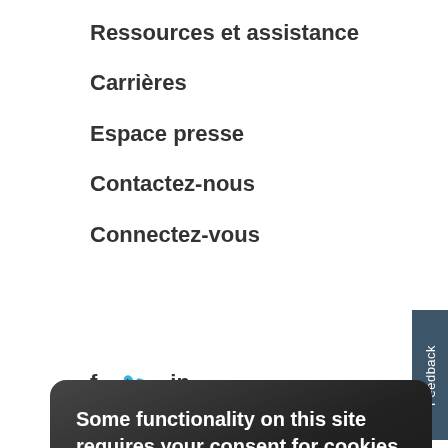Ressources et assistance
Carrières
Espace presse
Contactez-nous
Connectez-vous
[Figure (other): Social media icons: Facebook (f), Twitter (bird), LinkedIn (in)]
Feedback (vertical tab on right side)
Some functionality on this site requires your consent for cookies to work properly.
I consent to cookies
I want more information